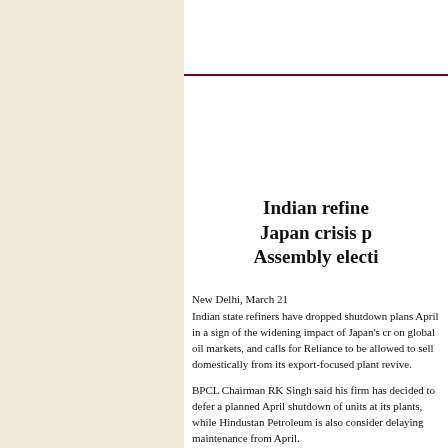Indian refine... Japan crisis p... Assembly electi...
New Delhi, March 21
Indian state refiners have dropped shutdown plans April in a sign of the widening impact of Japan's cr on global oil markets, and calls for Reliance to be allowed to sell domestically from its export-focused plant revive.
BPCL Chairman RK Singh said his firm has decided to defer a planned April shutdown of units at its plants, while Hindustan Petroleum is also consider delaying maintenance from April.